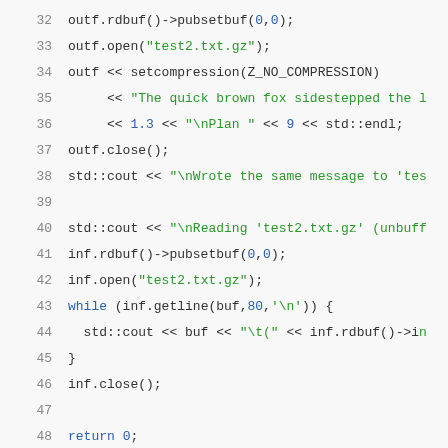[Figure (screenshot): C++ source code snippet showing lines 32-50, featuring file stream operations with outf and inf objects, including open, close, setcompression, getline calls, and return statement, displayed in a syntax-highlighted monospace editor style.]